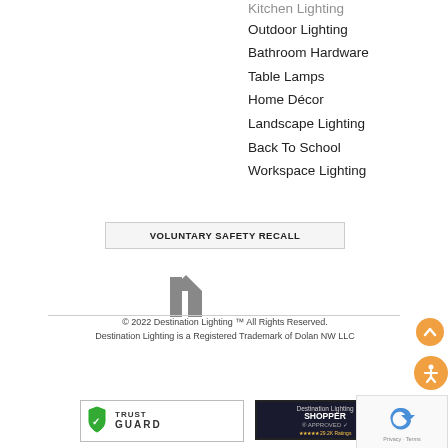Kitchen Lighting
Outdoor Lighting
Bathroom Hardware
Table Lamps
Home Décor
Landscape Lighting
Back To School
Workspace Lighting
VOLUNTARY SAFETY RECALL
[Figure (logo): Houzz logo icon (stylized house shape in gray)]
© 2022 Destination Lighting ™ All Rights Reserved. Destination Lighting is a Registered Trademark of Dolan NW LLC
[Figure (logo): Trust Guard security badge with shield icon]
[Figure (logo): Destination Lighting Shopper Approved badge with 29.2K Ratings and star rating]
[Figure (logo): reCAPTCHA badge with Privacy and Terms text]